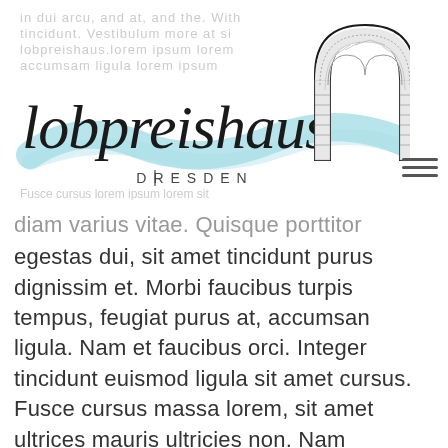[Figure (logo): Lobpreishaus Dresden logo with stylized handwritten text 'lobpreishaus', wave graphic in teal/light blue, 'DRESDEN' in spaced capital letters, and an ornate arch/horseshoe decorative element on the right]
diam varius vitae. Quisque porttitor egestas dui, sit amet tincidunt purus dignissim et. Morbi faucibus turpis tempus, feugiat purus at, accumsan ligula. Nam et faucibus orci. Integer tincidunt euismod ligula sit amet cursus. Fusce cursus massa lorem, sit amet ultrices mauris ultricies non. Nam dapibus, est et tincidunt auctor, ligula mauris convallis mauris, in hendrerit dolor lorem at nulla. Phasellus sit amet ligula semper, interdum velit vitae, imperdiet est. Curabitur vel sem velit. Integer elit